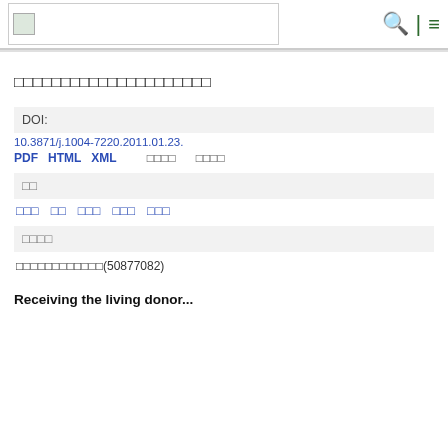[logo] | search | menu
□□□□□□□□□□□□□□□□□□□□□
DOI:
10.3871/j.1004-7220.2011.01.23.
PDF  HTML  XML  □□□□  □□□□
□□
□□□  □□  □□□  □□□  □□□
□□□□
□□□□□□□□□□□□(50877082)
Receiving the living donor...